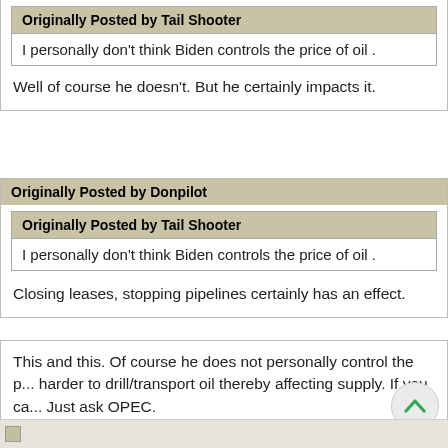Originally Posted by Tail Shooter
I personally don't think Biden controls the price of oil .
Well of course he doesn't. But he certainly impacts it.
Originally Posted by Donpilot
Originally Posted by Tail Shooter
I personally don't think Biden controls the price of oil .
Closing leases, stopping pipelines certainly has an effect.
This and this. Of course he does not personally control the p... harder to drill/transport oil thereby affecting supply. If you ca... Just ask OPEC.